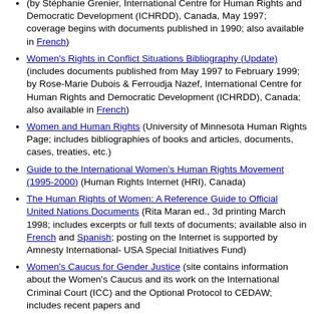(by Stéphanie Grenier, International Centre for Human Rights and Democratic Development (ICHRDD), Canada, May 1997; coverage begins with documents published in 1990; also available in French)
Women's Rights in Conflict Situations Bibliography (Update) (includes documents published from May 1997 to February 1999; by Rose-Marie Dubois & Ferroudja Nazef, International Centre for Human Rights and Democratic Development (ICHRDD), Canada; also available in French)
Women and Human Rights (University of Minnesota Human Rights Page; includes bibliographies of books and articles, documents, cases, treaties, etc.)
Guide to the International Women's Human Rights Movement (1995-2000) (Human Rights Internet (HRI), Canada)
The Human Rights of Women: A Reference Guide to Official United Nations Documents (Rita Maran ed., 3d printing March 1998; includes excerpts or full texts of documents; available also in French and Spanish; posting on the Internet is supported by Amnesty International- USA Special Initiatives Fund)
Women's Caucus for Gender Justice (site contains information about the Women's Caucus and its work on the International Criminal Court (ICC) and the Optional Protocol to CEDAW; includes recent papers and publications, and an e-mail list through the...